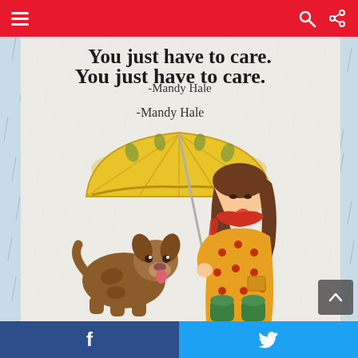Navigation bar with hamburger menu, search and share icons
[Figure (illustration): Children's book illustration showing a girl in a yellow polka-dot raincoat and green boots holding a large yellow umbrella over a small brown puppy in the rain. Light blue rainy background. Text overlay reads 'You just have to care.' attributed to -Mandy Hale.]
You just have to care.
-Mandy Hale
Facebook share button and Twitter share button